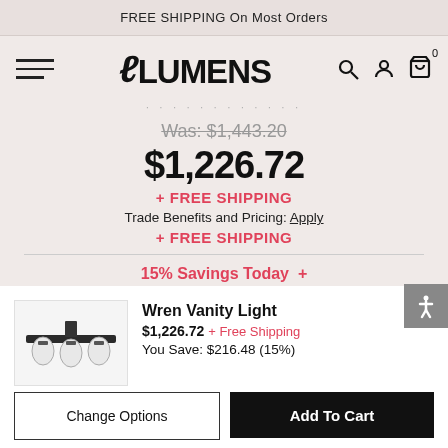FREE SHIPPING On Most Orders
[Figure (logo): Lumens logo with stylized L]
Was: $1,443.20
$1,226.72
+ FREE SHIPPING
Trade Benefits and Pricing: Apply
+ FREE SHIPPING
15% Savings Today +
Wren Vanity Light
$1,226.72 + Free Shipping
You Save: $216.48 (15%)
Change Options
Add To Cart